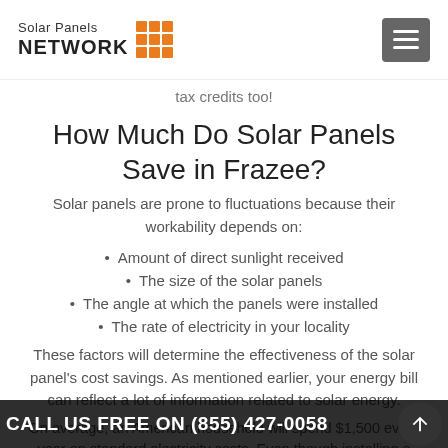Solar Panels NETWORK
tax credits too!
How Much Do Solar Panels Save in Frazee?
Solar panels are prone to fluctuations because their workability depends on:
Amount of direct sunlight received
The size of the solar panels
The angle at which the panels were installed
The rate of electricity in your locality
These factors will determine the effectiveness of the solar panel's cost savings. As mentioned earlier, your energy bill can reflect a lot of information related to solar energy.
On average, an American household will spend $1,500 every year on standard electricity costs. Even though installing a solar panel in Frazee will cost thrice of that amount, the long-term cost will be less. Moreover,
CALL US FREE ON (855) 427-0058